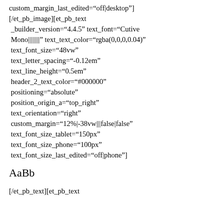custom_margin_last_edited="off|desktop"] [/et_pb_image][et_pb_text _builder_version="4.4.5" text_font="Cutive Mono||||||||" text_text_color="rgba(0,0,0,0.04)" text_font_size="48vw" text_letter_spacing="-0.12em" text_line_height="0.5em" header_2_text_color="#000000" positioning="absolute" position_origin_a="top_right" text_orientation="right" custom_margin="12%|-38vw|||false|false" text_font_size_tablet="150px" text_font_size_phone="100px" text_font_size_last_edited="off|phone"]
AaBb
[/et_pb_text][et_pb_text